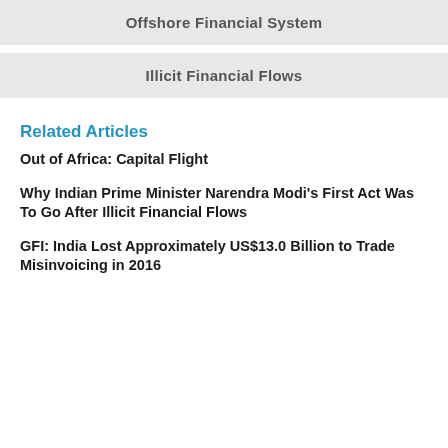Offshore Financial System
Illicit Financial Flows
Related Articles
Out of Africa: Capital Flight
Why Indian Prime Minister Narendra Modi's First Act Was To Go After Illicit Financial Flows
GFI: India Lost Approximately US$13.0 Billion to Trade Misinvoicing in 2016